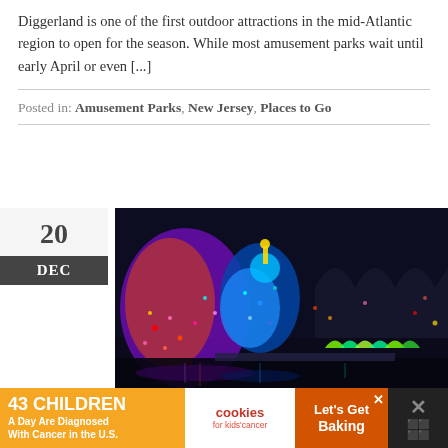Diggerland is one of the first outdoor attractions in the mid-Atlantic region to open for the season. While most amusement parks wait until early April or even [...]
Posted in: Amusement Parks, New Jersey, Places to Go
20
DEC
[Figure (photo): Night-time photo of an amusement park illuminated with colorful Christmas lights, showing large animal-shaped light displays in purple, red, and blue, with roller coaster structure visible in background]
43 CHILDREN A Day Are Diagnosed With Cancer in the U.S. | cookies for kids' cancer | Let's Get Baking